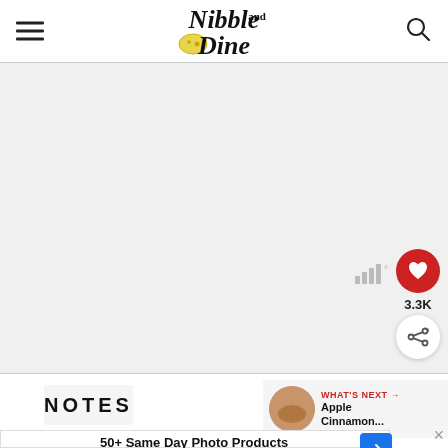Nibble and Dine
[Figure (screenshot): Light gray content placeholder area below the header]
3.3K
NOTES
WHAT'S NEXT → Apple Cinnamon...
50+ Same Day Photo Products CVS Photo